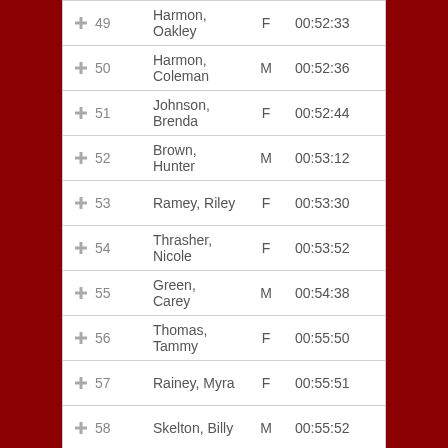| Rank | Name | Gender | Time |
| --- | --- | --- | --- |
| 49 | Harmon, Oakley | F | 00:52:33 |
| 50 | Harmon, Coleman | M | 00:52:36 |
| 51 | Johnson, Brenda | F | 00:52:44 |
| 52 | Brown, Hunter | M | 00:53:12 |
| 53 | Ramey, Riley | F | 00:53:30 |
| 54 | Thrasher, Nicole | F | 00:53:52 |
| 55 | Green, Carey | M | 00:54:38 |
| 56 | Thomas, Tammy | F | 00:55:50 |
| 57 | Rainey, Myra | F | 00:55:51 |
| 58 | Skelton, Billy | M | 00:55:52 |
| 59 | Bishop, Jessica | F | 00:56:03 |
| 60 | Criss, Jen | F | 00:56:12 |
| 61 | Mur, Cesar | M | 00:56:40 |